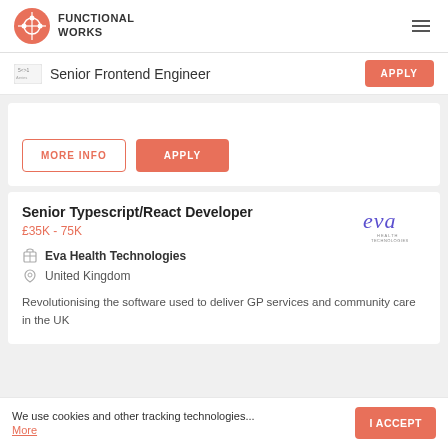FUNCTIONAL WORKS
Senior Frontend Engineer
MORE INFO | APPLY
Senior Typescript/React Developer
£35K - 75K
Eva Health Technologies
United Kingdom
Revolutionising the software used to deliver GP services and community care in the UK
We use cookies and other tracking technologies... More
I ACCEPT